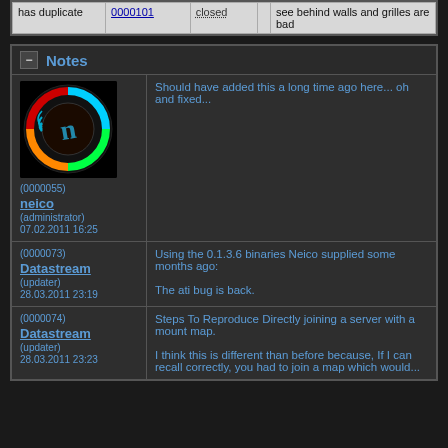| has duplicate | 0000101 | closed | see behind walls and grilles are bad |
| --- | --- | --- | --- |
| has duplicate | 0000101 | closed | see behind walls and grilles are bad |
Notes
(0000055)
neico
(administrator)
07.02.2011 16:25
Should have added this a long time ago here... oh and fixed...
(0000073)
Datastream
(updater)
28.03.2011 23:19
Using the 0.1.3.6 binaries Neico supplied some months ago:

The ati bug is back.
(0000074)
Datastream
(updater)
28.03.2011 23:23
Steps To Reproduce Directly joining a server with a mount map.

I think this is different than before because, If I can recall correctly, you had to join a map which would...